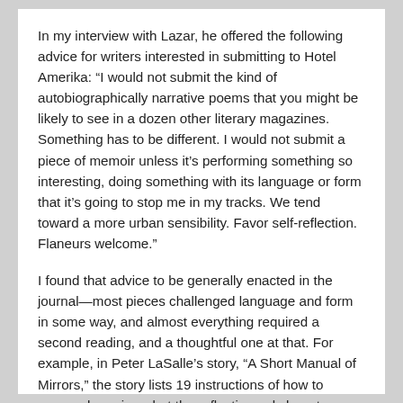In my interview with Lazar, he offered the following advice for writers interested in submitting to Hotel Amerika: “I would not submit the kind of autobiographically narrative poems that you might be likely to see in a dozen other literary magazines. Something has to be different. I would not submit a piece of memoir unless it’s performing something so interesting, doing something with its language or form that it’s going to stop me in my tracks. We tend toward a more urban sensibility. Favor self-reflection. Flaneurs welcome.”
I found that advice to be generally enacted in the journal—most pieces challenged language and form in some way, and almost everything required a second reading, and a thoughtful one at that. For example, in Peter LaSalle’s story, “A Short Manual of Mirrors,” the story lists 19 instructions of how to approach a mirror, but the reflection only begets another reflection. “And while Borges is often attributed with having said all there is to say on mirrors, Borges himself